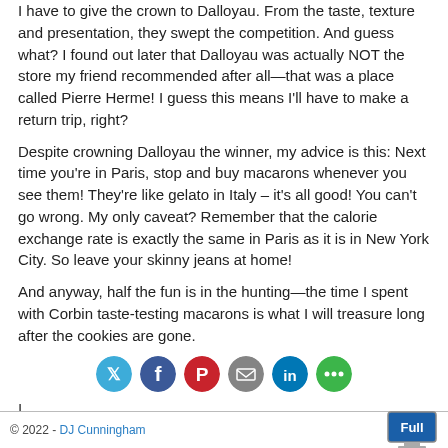I have to give the crown to Dalloyau. From the taste, texture and presentation, they swept the competition. And guess what? I found out later that Dalloyau was actually NOT the store my friend recommended after all—that was a place called Pierre Herme! I guess this means I'll have to make a return trip, right?
Despite crowning Dalloyau the winner, my advice is this: Next time you're in Paris, stop and buy macarons whenever you see them! They're like gelato in Italy – it's all good! You can't go wrong. My only caveat? Remember that the calorie exchange rate is exactly the same in Paris as it is in New York City. So leave your skinny jeans at home!
And anyway, half the fun is in the hunting—the time I spent with Corbin taste-testing macarons is what I will treasure long after the cookies are gone.
[Figure (infographic): Social sharing icons row: Twitter (blue), Facebook (blue), Pinterest (red), Email (gray), LinkedIn (blue), More (green)]
|
© 2022 - DJ Cunningham